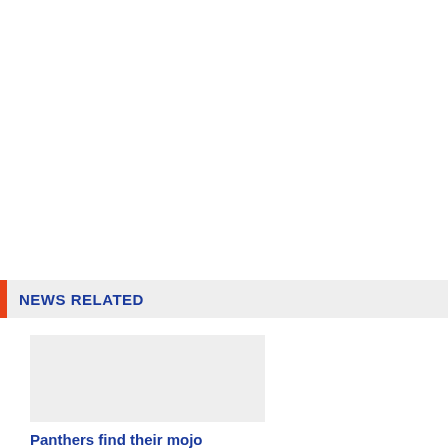NEWS RELATED
[Figure (photo): Thumbnail placeholder image for Panthers article]
Panthers find their mojo